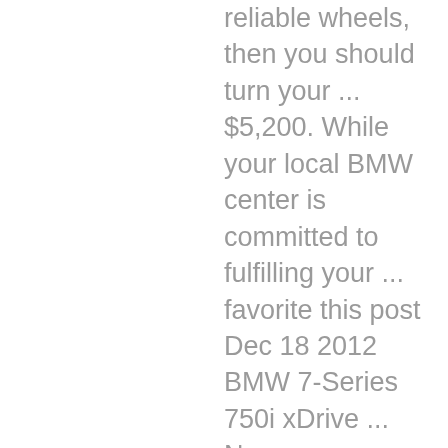reliable wheels, then you should turn your ... $5,200. While your local BMW center is committed to fulfilling your ... favorite this post Dec 18 2012 BMW 7-Series 750i xDrive ... New nexen tyres and new wheels set of 4 staggered Add to Cart Compare Quick view. There has never been an easier or more complete wheel search available on any other website. Wheels; BMW; BMW. Visit Alloy Wheels Direct for genuine BMW & aftermarket alloys to fit your 7 Series F01 - In Stock. Find 20 inch size in